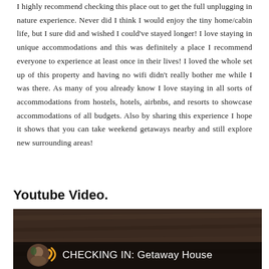I highly recommend checking this place out to get the full unplugging in nature experience. Never did I think I would enjoy the tiny home/cabin life, but I sure did and wished I could've stayed longer! I love staying in unique accommodations and this was definitely a place I recommend everyone to experience at least once in their lives! I loved the whole set up of this property and having no wifi didn't really bother me while I was there. As many of you already know I love staying in all sorts of accommodations from hostels, hotels, airbnbs, and resorts to showcase accommodations of all budgets. Also by sharing this experience I hope it shows that you can take weekend getaways nearby and still explore new surrounding areas!
Youtube Video.
[Figure (screenshot): YouTube video thumbnail showing a dark wooden cabin interior background with a dark overlay bar at the bottom. On the bar: a circular avatar photo of a woman with dark hair and a yellow/orange curved play symbol beside it, followed by the text 'CHECKING IN: Getaway House' in white.]